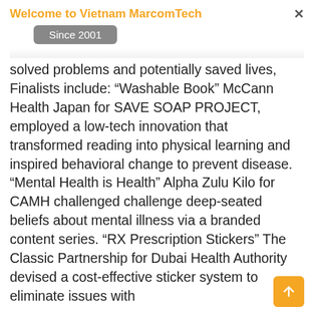Welcome to Vietnam MarcomTech
Since 2001
solved problems and potentially saved lives, Finalists include: “Washable Book” McCann Health Japan for SAVE SOAP PROJECT, employed a low-tech innovation that transformed reading into physical learning and inspired behavioral change to prevent disease. “Mental Health is Health” Alpha Zulu Kilo for CAMH challenged challenge deep-seated beliefs about mental illness via a branded content series. “RX Prescription Stickers” The Classic Partnership for Dubai Health Authority devised a cost-effective sticker system to eliminate issues with